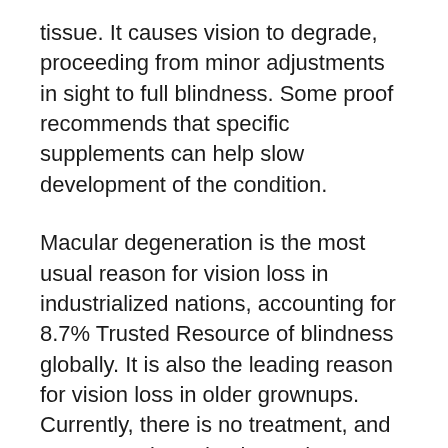tissue. It causes vision to degrade, proceeding from minor adjustments in sight to full blindness. Some proof recommends that specific supplements can help slow development of the condition.
Macular degeneration is the most usual reason for vision loss in industrialized nations, accounting for 8.7% Trusted Resource of blindness globally. It is also the leading reason for vision loss in older grownups. Currently, there is no treatment, and treatments intend to lower the rate at which macular deterioration proceeds, to delay the effects on vision. Evidence recommends that nutritional supplements might help reduce the chances of developing macular degeneration.